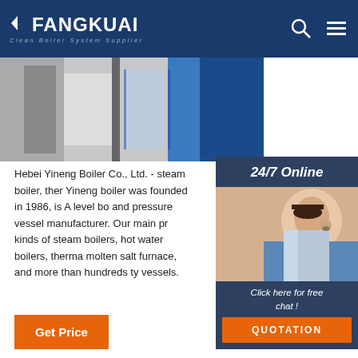FANGKUAI - Clean Boiler System Supplier
[Figure (photo): Product image showing boiler/industrial equipment with blue and grey tones]
[Figure (photo): 24/7 Online chat widget with a smiling woman wearing headset, Click here for free chat, QUOTATION button]
Hebei Yineng Boiler Co., Ltd. - steam boiler, ther Yineng boiler was founded in 1986, is A level bo and pressure vessel manufacturer. Our main pr kinds of steam boilers, hot water boilers, therma molten salt furnace, and more than hundreds ty vessels.
[Figure (other): Get Price orange button]
[Figure (other): TOP navigation button in orange with dots above]